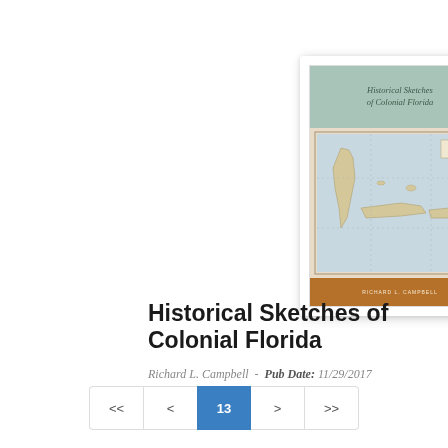[Figure (illustration): Book cover for 'Historical Sketches of Colonial Florida' by Richard L. Campbell. The cover features a sage green header band with the title text, a vintage map of the Caribbean/Florida region in the center, and a brown/amber footer band with the author's name.]
Historical Sketches of Colonial Florida
Richard L. Campbell  -  Pub Date: 11/29/2017  -  Paper: $29.95